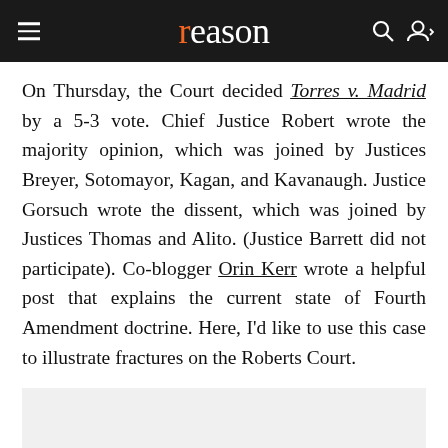reason
On Thursday, the Court decided Torres v. Madrid by a 5-3 vote. Chief Justice Robert wrote the majority opinion, which was joined by Justices Breyer, Sotomayor, Kagan, and Kavanaugh. Justice Gorsuch wrote the dissent, which was joined by Justices Thomas and Alito. (Justice Barrett did not participate). Co-blogger Orin Kerr wrote a helpful post that explains the current state of Fourth Amendment doctrine. Here, I'd like to use this case to illustrate fractures on the Roberts Court.
[Figure (other): Advertisement placeholder box with 'AD' label]